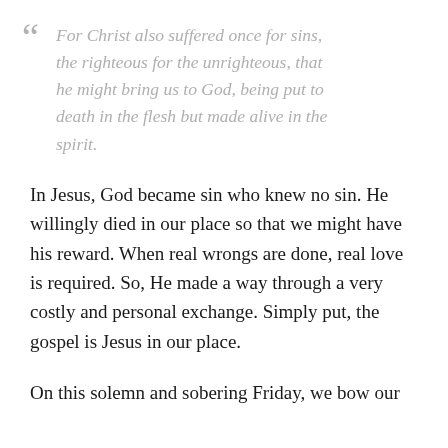“ For Christ also suffered once for sins, the righteous for the unrighteous, that he might bring us to God, being put to death in the flesh but made alive in the spirit.
In Jesus, God became sin who knew no sin. He willingly died in our place so that we might have his reward. When real wrongs are done, real love is required. So, He made a way through a very costly and personal exchange. Simply put, the gospel is Jesus in our place.
On this solemn and sobering Friday, we bow our